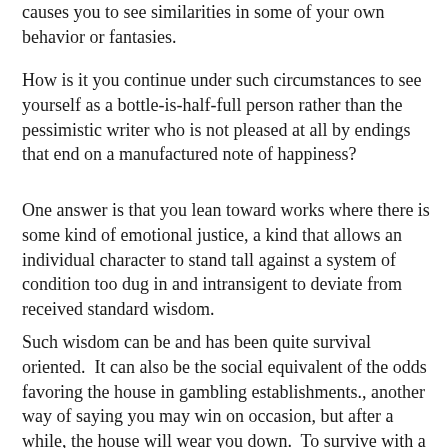causes you to see similarities in some of your own behavior or fantasies.
How is it you continue under such circumstances to see yourself as a bottle-is-half-full person rather than the pessimistic writer who is not pleased at all by endings that end on a manufactured note of happiness?
One answer is that you lean toward works where there is some kind of emotional justice, a kind that allows an individual character to stand tall against a system of condition too dug in and intransigent to deviate from received standard wisdom.
Such wisdom can be and has been quite survival oriented.  It can also be the social equivalent of the odds favoring the house in gambling establishments., another way of saying you may win on occasion, but after a while, the house will wear you down.  To survive with a sense of self intact, you must, as Omar Little a favored character from